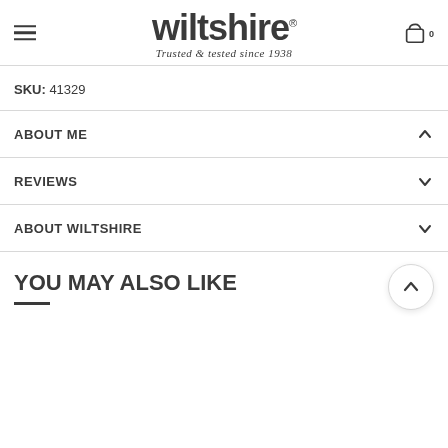wiltshire® Trusted & tested since 1938
SKU: 41329
ABOUT ME
REVIEWS
ABOUT WILTSHIRE
YOU MAY ALSO LIKE